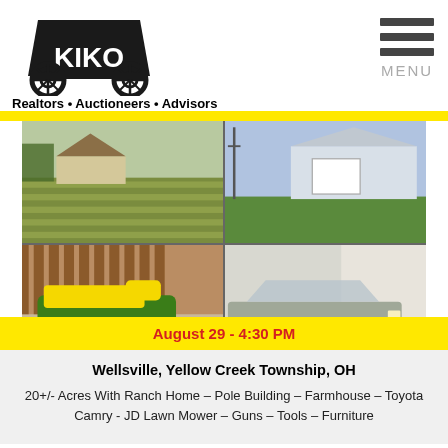[Figure (logo): KIKO Realtors Auctioneers Advisors logo with covered wagon]
Realtors • Auctioneers • Advisors
[Figure (other): Hamburger menu icon with MENU text]
[Figure (photo): 4-photo collage: top-left rural mowed field, top-right garage/barn building, bottom-left John Deere riding lawn mower, bottom-right Toyota Camry in garage]
August 29 - 4:30 PM
Wellsville, Yellow Creek Township, OH
20+/- Acres With Ranch Home – Pole Building – Farmhouse – Toyota Camry - JD Lawn Mower – Guns – Tools – Furniture